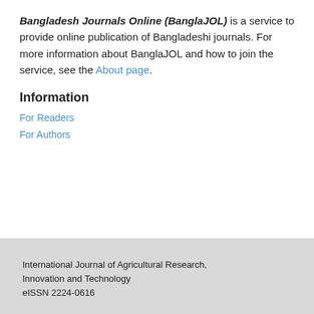Bangladesh Journals Online (BanglaJOL) is a service to provide online publication of Bangladeshi journals. For more information about BanglaJOL and how to join the service, see the About page.
Information
For Readers
For Authors
International Journal of Agricultural Research, Innovation and Technology
eISSN 2224-0616